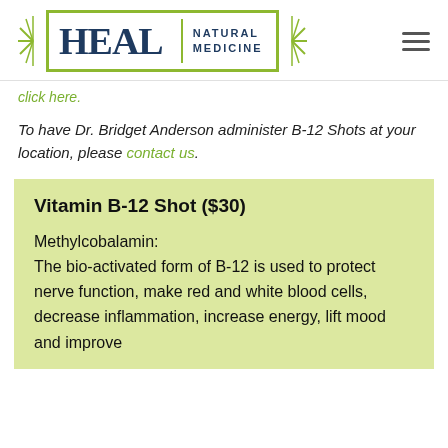[Figure (logo): HEAL Natural Medicine logo with green sunburst border, dark blue HEAL text, green vertical divider, NATURAL MEDICINE text in caps]
click here.
To have Dr. Bridget Anderson administer B-12 Shots at your location, please contact us.
Vitamin B-12 Shot ($30)
Methylcobalamin: The bio-activated form of B-12 is used to protect nerve function, make red and white blood cells, decrease inflammation, increase energy, lift mood and improve